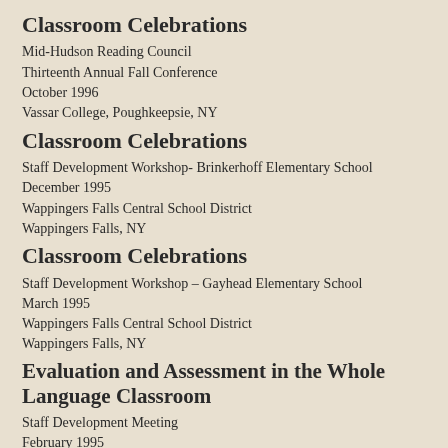Classroom Celebrations
Mid-Hudson Reading Council
Thirteenth Annual Fall Conference
October 1996
Vassar College, Poughkeepsie, NY
Classroom Celebrations
Staff Development Workshop- Brinkerhoff Elementary School
December 1995
Wappingers Falls Central School District
Wappingers Falls, NY
Classroom Celebrations
Staff Development Workshop – Gayhead Elementary School
March 1995
Wappingers Falls Central School District
Wappingers Falls, NY
Evaluation and Assessment in the Whole Language Classroom
Staff Development Meeting
February 1995
Pawling Central School District
Pawling, NY